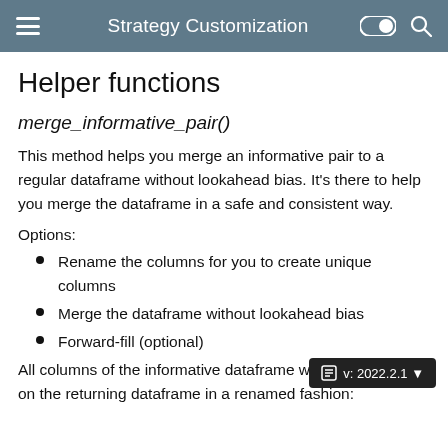Strategy Customization
Helper functions
merge_informative_pair()
This method helps you merge an informative pair to a regular dataframe without lookahead bias. It's there to help you merge the dataframe in a safe and consistent way.
Options:
Rename the columns for you to create unique columns
Merge the dataframe without lookahead bias
Forward-fill (optional)
All columns of the informative dataframe w on the returning dataframe in a renamed fashion: